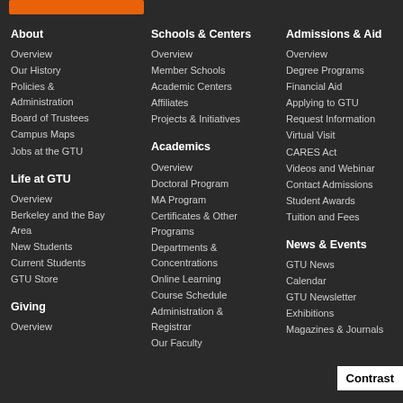About
Overview
Our History
Policies & Administration
Board of Trustees
Campus Maps
Jobs at the GTU
Life at GTU
Overview
Berkeley and the Bay Area
New Students
Current Students
GTU Store
Giving
Overview
Schools & Centers
Overview
Member Schools
Academic Centers
Affiliates
Projects & Initiatives
Academics
Overview
Doctoral Program
MA Program
Certificates & Other Programs
Departments & Concentrations
Online Learning
Course Schedule
Administration & Registrar
Our Faculty
Admissions & Aid
Overview
Degree Programs
Financial Aid
Applying to GTU
Request Information
Virtual Visit
CARES Act
Videos and Webinar
Contact Admissions
Student Awards
Tuition and Fees
News & Events
GTU News
Calendar
GTU Newsletter
Exhibitions
Magazines & Journals